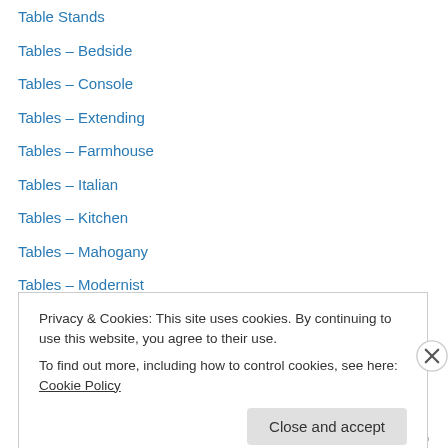Table Stands
Tables – Bedside
Tables – Console
Tables – Extending
Tables – Farmhouse
Tables – Italian
Tables – Kitchen
Tables – Mahogany
Tables – Modernist
Tables – Oak
Tables – Occasional
Tables – Pedestal
Tables – Refectory
Privacy & Cookies: This site uses cookies. By continuing to use this website, you agree to their use.
To find out more, including how to control cookies, see here: Cookie Policy
Close and accept